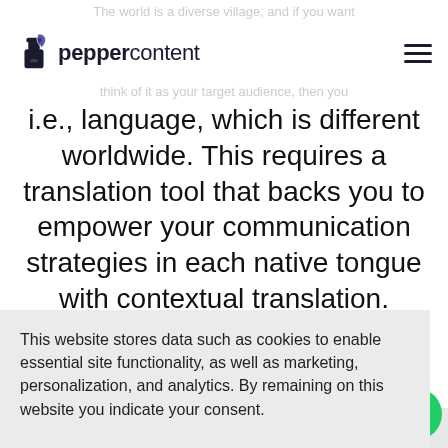The world is a diverse village; and if you want
[Figure (logo): Pepper Content logo with ink bottle icon and wordmark 'peppercontent']
i.e., language, which is different worldwide. This requires a translation tool that backs you to empower your communication strategies in each native tongue with contextual translation. Translating your [content] will make [accurate] translations
This website stores data such as cookies to enable essential site functionality, as well as marketing, personalization, and analytics. By remaining on this website you indicate your consent.
Cookie Policy